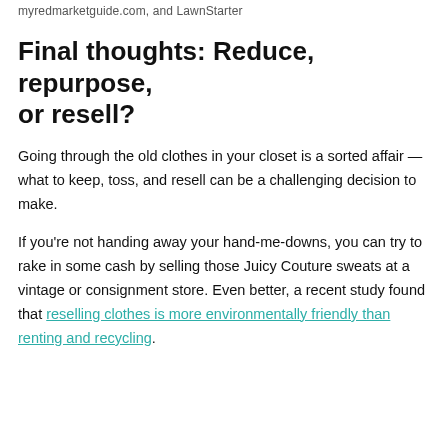myredmarketguide.com, and LawnStarter
Final thoughts: Reduce, repurpose, or resell?
Going through the old clothes in your closet is a sorted affair — what to keep, toss, and resell can be a challenging decision to make.
If you're not handing away your hand-me-downs, you can try to rake in some cash by selling those Juicy Couture sweats at a vintage or consignment store. Even better, a recent study found that reselling clothes is more environmentally friendly than renting and recycling.